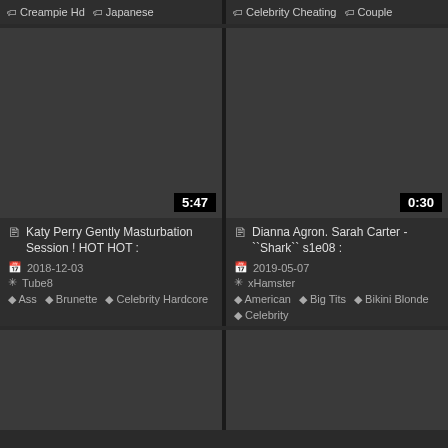Creampie Hd  Japanese
Celebrity Cheating  Couple
[Figure (screenshot): Video thumbnail placeholder dark grey, duration 5:47, title: Katy Perry Gently Masturbation Session ! HOT HOT, date 2018-12-03, source Tube8, tags: Ass, Brunette, Celebrity Hardcore]
[Figure (screenshot): Video thumbnail placeholder dark grey, duration 0:30, title: Dianna Agron. Sarah Carter - Shark s1e08, date 2019-05-07, source xHamster, tags: American, Big Tits, Bikini Blonde, Celebrity]
[Figure (screenshot): Video thumbnail placeholder dark grey bottom left]
[Figure (screenshot): Video thumbnail placeholder dark grey bottom right]